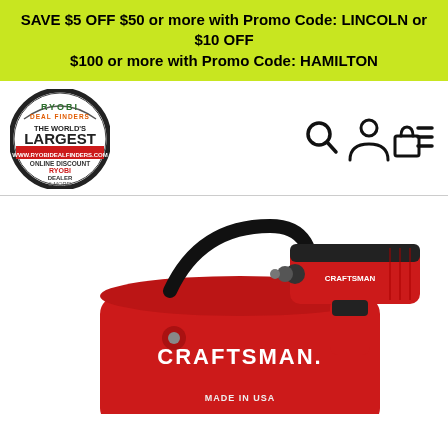SAVE $5 OFF $50 or more with Promo Code: LINCOLN or $10 OFF $100 or more with Promo Code: HAMILTON
[Figure (logo): Ryobi Deal Finders circular logo — The World's Largest Online Discount Ryobi Dealer, www.ryobidealfinders.com]
[Figure (illustration): Navigation bar icons: search magnifier, user/account person icon, shopping bag/cart icon, hamburger menu lines]
[Figure (photo): Craftsman cordless drill/driver in red and black, shown with a red Craftsman tool bag with black handles. The drill is partly visible above the bag. 'CRAFTSMAN' branding visible on both bag and drill. 'MADE IN USA' text visible at bottom.]